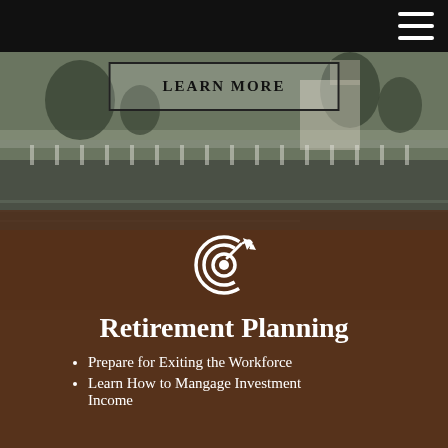[Figure (photo): Aerial or lakeside view of an upscale residential community or resort with white fences, manicured hedges, and a reflective water body]
LEARN MORE
[Figure (other): White target/goal icon with circular arrows, representing retirement planning]
Retirement Planning
Prepare for Exiting the Workforce
Learn How to Mangage Investment Income